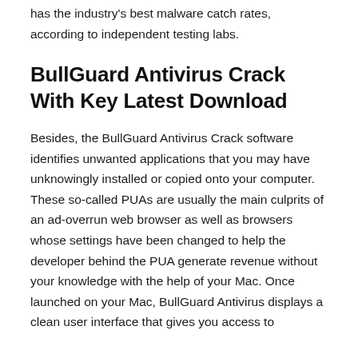has the industry's best malware catch rates, according to independent testing labs.
BullGuard Antivirus Crack With Key Latest Download
Besides, the BullGuard Antivirus Crack software identifies unwanted applications that you may have unknowingly installed or copied onto your computer. These so-called PUAs are usually the main culprits of an ad-overrun web browser as well as browsers whose settings have been changed to help the developer behind the PUA generate revenue without your knowledge with the help of your Mac. Once launched on your Mac, BullGuard Antivirus displays a clean user interface that gives you access to